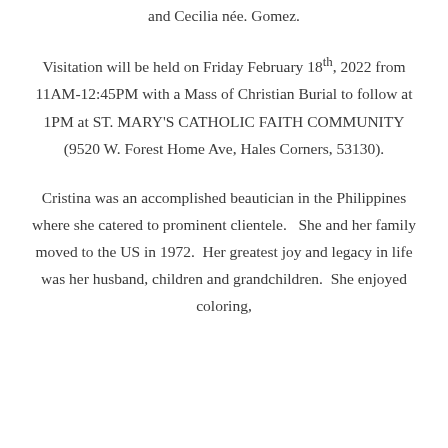and Cecilia née. Gomez.
Visitation will be held on Friday February 18th, 2022 from 11AM-12:45PM with a Mass of Christian Burial to follow at 1PM at ST. MARY'S CATHOLIC FAITH COMMUNITY (9520 W. Forest Home Ave, Hales Corners, 53130).
Cristina was an accomplished beautician in the Philippines where she catered to prominent clientele.  She and her family moved to the US in 1972.  Her greatest joy and legacy in life was her husband, children and grandchildren.  She enjoyed coloring,